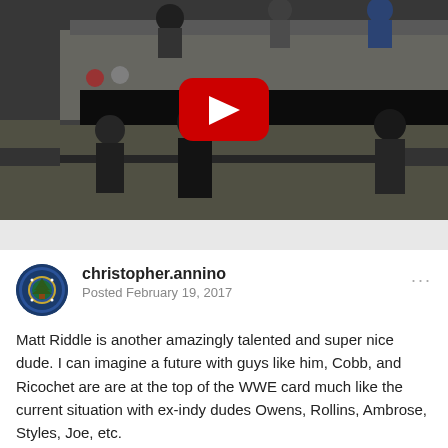[Figure (screenshot): YouTube video thumbnail showing a wrestling ring at an indoor venue with audience, a referee, wrestlers, and a large red YouTube play button overlay in the center.]
christopher.annino
Posted February 19, 2017
Matt Riddle is another amazingly talented and super nice dude. I can imagine a future with guys like him, Cobb, and Ricochet are are at the top of the WWE card much like the current situation with ex-indy dudes Owens, Rollins, Ambrose, Styles, Joe, etc.